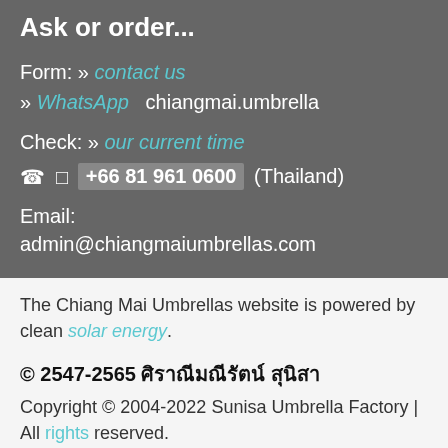Ask or order...
Form: » contact us
» WhatsApp   chiangmai.umbrella

Check: » our current time
☎ □ +66 81 961 0600 (Thailand)

Email:
admin@chiangmaiumbrellas.com
The Chiang Mai Umbrellas website is powered by clean solar energy.
© 2547-2565 ศิราณีมณีรัตน์ สุนิสา
Copyright © 2004-2022 Sunisa Umbrella Factory | All rights reserved.